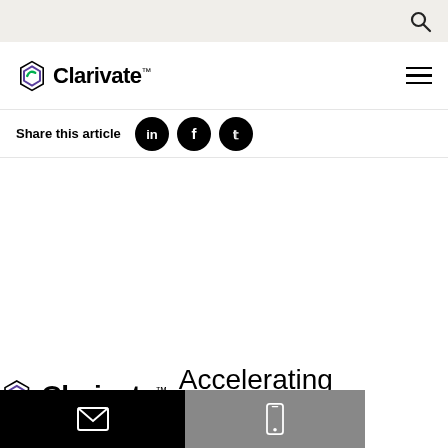Search bar (top navigation)
[Figure (logo): Clarivate logo with hexagonal icon and brand name, hamburger menu icon on right]
Share this article
[Figure (illustration): Social media share icons: LinkedIn, Facebook, Twitter circles]
[Figure (logo): Clarivate logo with tagline: Accelerating innovation]
[Figure (illustration): Footer social media icons: Twitter and LinkedIn circles]
Mobile bottom bar with email and phone icons